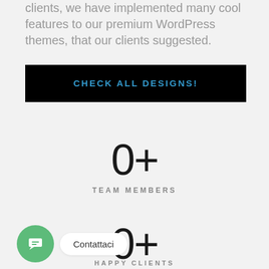clients, we have implemented many cool features to our premium WordPress themes, that our clients suggested.
CHECK ALL DESIGNS!
0+
TEAM MEMBERS
Contattaci
0+
HAPPY CLIENTS